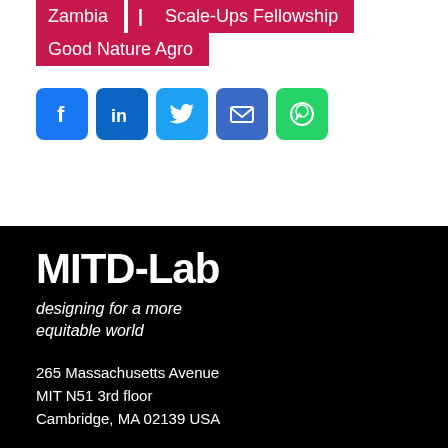Zambia | Scale-Ups Fellowship
Good Nature Agro
[Figure (infographic): Social share icons: Facebook, LinkedIn, Twitter, Email, WhatsApp]
MITD-Lab
designing for a more equitable world
265 Massachusetts Avenue
MIT N51 3rd floor
Cambridge, MA 02139 USA
ACCESSIBILITY